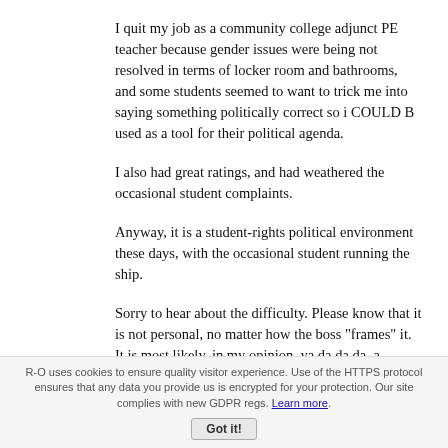I quit my job as a community college adjunct PE teacher because gender issues were being not resolved in terms of locker room and bathrooms, and some students seemed to want to trick me into saying something politically correct so i COULD B used as a tool for their political agenda.
I also had great ratings, and had weathered the occasional student complaints.
Anyway, it is a student-rights political environment these days, with the occasional student running the ship.
Sorry to hear about the difficulty. Please know that it is not personal, no matter how the boss "frames" it. It is most likely, in my opinion, ya da da da, a political position that is being taken, to protect the school from litigation.
R-O uses cookies to ensure quality visitor experience. Use of the HTTPS protocol ensures that any data you provide us is encrypted for your protection. Our site complies with new GDPR regs. Learn more. Got it!